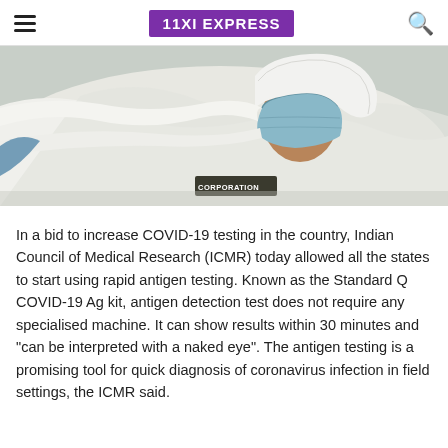11XI EXPRESS
[Figure (photo): A person wearing a blue surgical mask and white protective gear/clothing, lying down, with a label visible reading 'CORPORATION'. Medical/COVID-19 context.]
In a bid to increase COVID-19 testing in the country, Indian Council of Medical Research (ICMR) today allowed all the states to start using rapid antigen testing. Known as the Standard Q COVID-19 Ag kit, antigen detection test does not require any specialised machine. It can show results within 30 minutes and "can be interpreted with a naked eye". The antigen testing is a promising tool for quick diagnosis of coronavirus infection in field settings, the ICMR said.